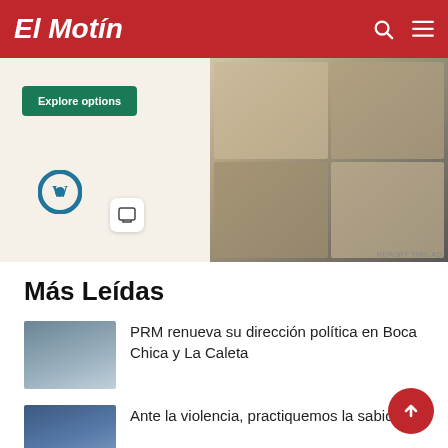El Motín
[Figure (photo): Advertisement banner featuring a WordPress logo, Explore options button, and food/restaurant website screenshots on the right side.]
REPORT THIS AD
Más Leídas
[Figure (photo): Thumbnail of a group of people for news article about PRM]
PRM renueva su dirección política en Boca Chica y La Caleta
[Figure (photo): Thumbnail of a man in suit for news article about violence and wisdom]
Ante la violencia, practiquemos la sabiduría
[Figure (photo): Thumbnail showing a group with banner for news about government recovery]
Gobierno inicia recuperación del contraembalse Las Barias